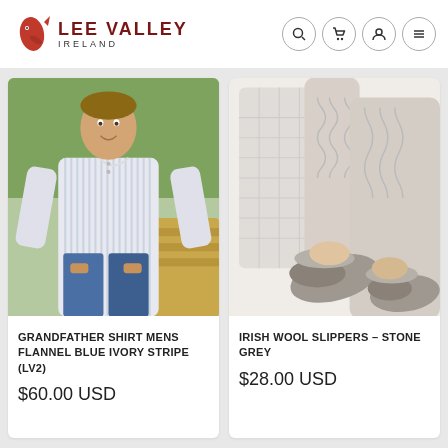[Figure (logo): Lee Valley Ireland logo with salmon fish icon and text]
[Figure (photo): Man wearing grandfather shirt, flannel blue ivory stripe, standing outdoors near hay bale]
GRANDFATHER SHIRT MENS FLANNEL BLUE IVORY STRIPE (LV2)
$60.00 USD
[Figure (photo): Person's legs wearing Irish wool slippers in stone grey with cable knit leg warmers, sitting on wicker chair]
IRISH WOOL SLIPPERS – STONE GREY
$28.00 USD